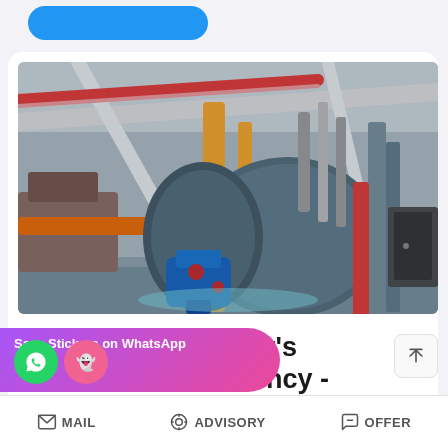[Figure (photo): Industrial boiler room interior showing large cylindrical boilers with blue motor, yellow and orange pipes, metal framework and ducts in a factory setting]
Improve Your Boiler's Combustion Efficiency - Energy
...ot, smoke, and carbon monoxide), in heat lost due to the increased
[Figure (screenshot): WhatsApp sticker save overlay banner with purple-pink gradient background showing phone and ghost icons]
MAIL   ADVISORY   OFFER